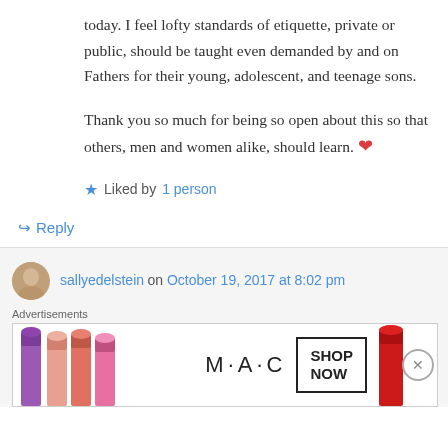today. I feel lofty standards of etiquette, private or public, should be taught even demanded by and on Fathers for their young, adolescent, and teenage sons.
Thank you so much for being so open about this so that others, men and women alike, should learn. ❤
★ Liked by 1 person
↪ Reply
sallyedelstein on October 19, 2017 at 8:02 pm
Advertisements
[Figure (photo): MAC cosmetics advertisement banner showing colorful lipsticks and MAC logo with SHOP NOW button]